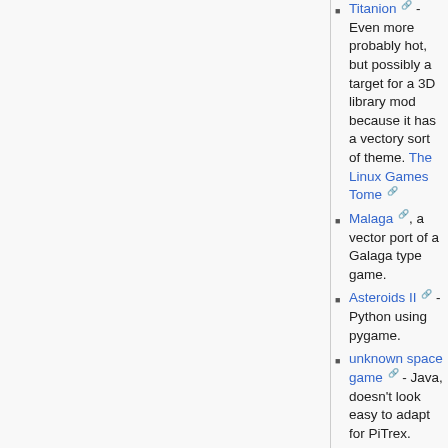Titanion - Even more probably hot, but possibly a target for a 3D library mod because it has a vectory sort of theme. The Linux Games Tome
Malaga, a vector port of a Galaga type game.
Asteroids II - Python using pygame.
unknown space game - Java, doesn't look easy to adapt for PiTrex.
Celesteroids
Another asteroids
ES - Java game probably using 3D library. Also other vectory Java games by the same author but without a source code package.
Woody Tigerbaums Interplanetary Package Delivery - Python using pygame / openGL.
Asteroids Infinity - Python using pygame.
Vecron - Python using pygame.
SpaceWarpy and Vektoriods - Python using pygame.
Dstar - Only partially vector, but maybe possible to replace texture maps with lines?
Lunar Lander clone. Source available.